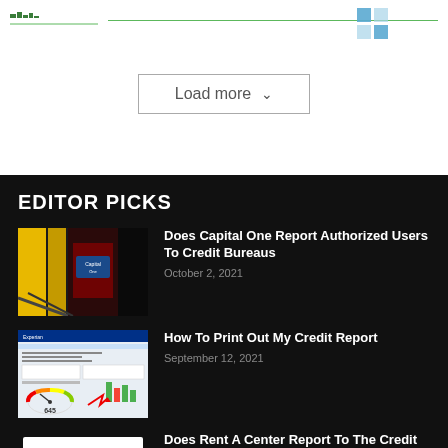[Figure (other): Website logo and navigation header line]
Load more
EDITOR PICKS
[Figure (photo): Capital One bank branch interior with yellow and red lighting and Capital One sign]
Does Capital One Report Authorized Users To Credit Bureaus
October 2, 2021
[Figure (screenshot): Experian credit report website screenshot showing credit score gauge]
How To Print Out My Credit Report
September 12, 2021
[Figure (photo): ADD YOUR RENT text with house icon on dark background]
Does Rent A Center Report To The Credit Bureau